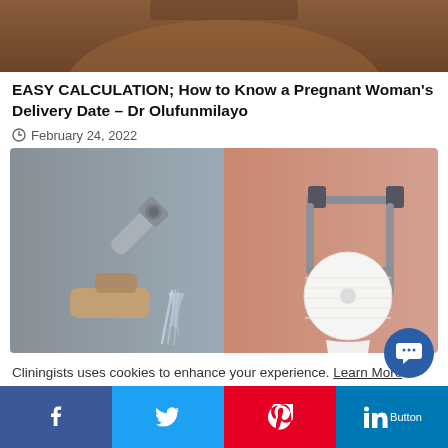[Figure (photo): Cropped photo of a pregnant woman's torso, dark skin, top portion cut off]
EASY CALCULATION; How to Know a Pregnant Woman's Delivery Date – Dr Olufunmilayo
February 24, 2022
[Figure (photo): Split image: left side shows a hand holding a bidet/shower sprayer with water stream on gray background; right side shows a toilet paper roll on a chrome holder against peach/salmon colored wall]
Cliningists uses cookies to enhance your experience. Learn More
[Figure (other): Social share bar with Facebook, Twitter, Pinterest, and LinkedIn buttons]